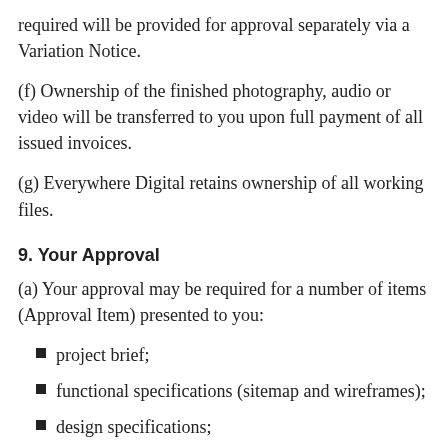required will be provided for approval separately via a Variation Notice.
(f) Ownership of the finished photography, audio or video will be transferred to you upon full payment of all issued invoices.
(g) Everywhere Digital retains ownership of all working files.
9. Your Approval
(a) Your approval may be required for a number of items (Approval Item) presented to you:
project brief;
functional specifications (sitemap and wireframes);
design specifications;